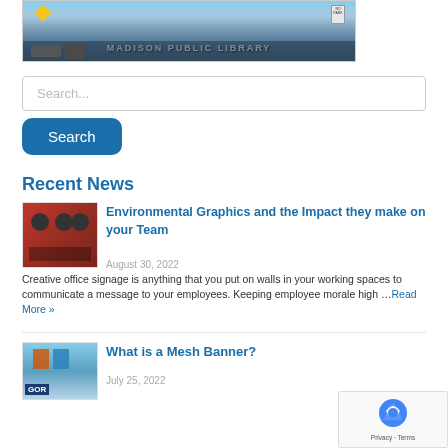[Figure (photo): Photo of Madison Public Library exterior with glass facade and street signs]
Search...
Search
Recent News
[Figure (photo): Interior photo of office with red walls and environmental graphics]
Environmental Graphics and the Impact they make on your Team
August 30, 2022
Creative office signage is anything that you put on walls in your working spaces to communicate a message to your employees. Keeping employee morale high …Read More »
[Figure (photo): Outdoor mesh banner with colorful signage near street]
What is a Mesh Banner?
July 25, 2022